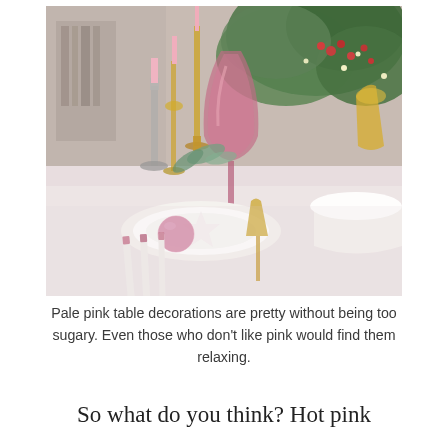[Figure (photo): A close-up photograph of an elegantly set dining table featuring pale pink candles in gold candlesticks, a pink crystal wine glass, green floral arrangement with red berries and fairy lights, white plates with pink ornament balls, white-handled cutlery with pink accents, and a white bowl, all on a white/pink tablecloth.]
Pale pink table decorations are pretty without being too sugary. Even those who don't like pink would find them relaxing.
So what do you think? Hot pink